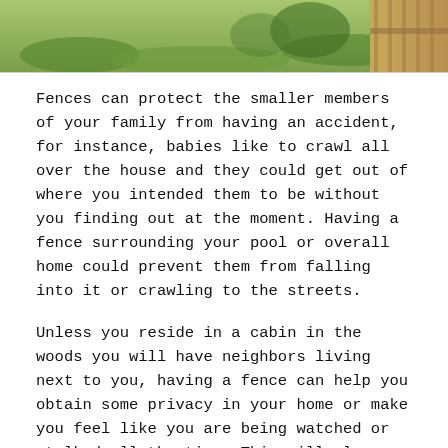[Figure (photo): Outdoor photo showing grass and a wooden fence in the background, cropped at the top of the page.]
Fences can protect the smaller members of your family from having an accident, for instance, babies like to crawl all over the house and they could get out of where you intended them to be without you finding out at the moment. Having a fence surrounding your pool or overall home could prevent them from falling into it or crawling to the streets.
Unless you reside in a cabin in the woods you will have neighbors living next to you, having a fence can help you obtain some privacy in your home or make you feel like you are being watched or stalked all the time. This will also make you not disturb the neighbors if you are having a family gathering or a party with your friends.
Right after you have bought the home of your dreams you might want to spend your money on important and essential